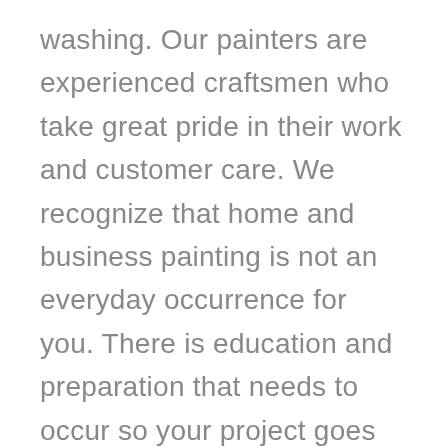washing. Our painters are experienced craftsmen who take great pride in their work and customer care. We recognize that home and business painting is not an everyday occurrence for you. There is education and preparation that needs to occur so your project goes smoothly and according to your expectations. We do this through a process of communication and education so we can co-create the best possible painting experience with you. We call this the Certainty Service System. At Dr.Paint INC. you'll never be